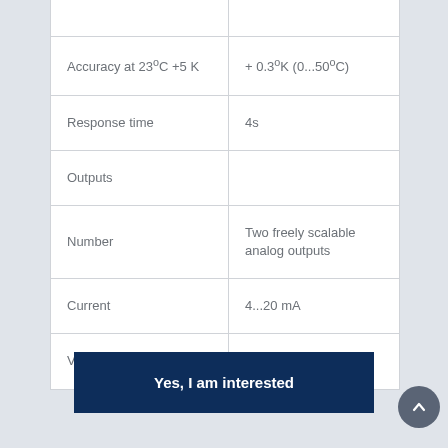| Property | Value |
| --- | --- |
|  |  |
| Accuracy at 23°C +5 K | + 0.3°K (0...50°C) |
| Response time | 4s |
| Outputs |  |
| Number | Two freely scalable analog outputs |
| Current | 4...20 mA |
| Voltage | 0...1/5/10 VDC |
Yes, I am interested